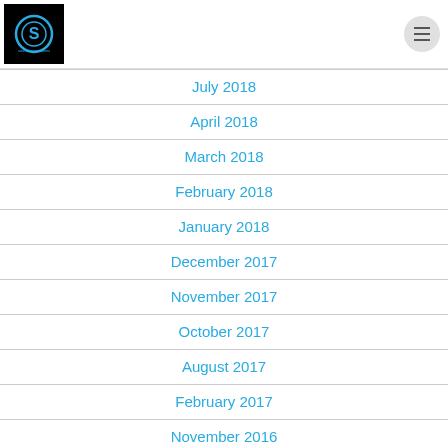Sound Expressions logo and menu
July 2018
April 2018
March 2018
February 2018
January 2018
December 2017
November 2017
October 2017
August 2017
February 2017
November 2016